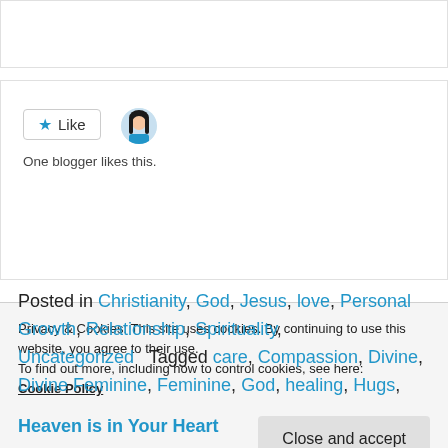[Figure (other): White empty box at top of page]
One blogger likes this.
Posted in Christianity, God, Jesus, love, Personal Growth, Relationship, Spirituality, Uncategorized   Tagged care, Compassion, Divine, Divine Feminine, Feminine, God, healing, Hugs, inclusion, Jesus, kindness, Kingdom of God, Kingdom of
Privacy & Cookies: This site uses cookies. By continuing to use this website, you agree to their use.
To find out more, including how to control cookies, see here:
Cookie Policy
Close and accept
Heaven is in Your Heart